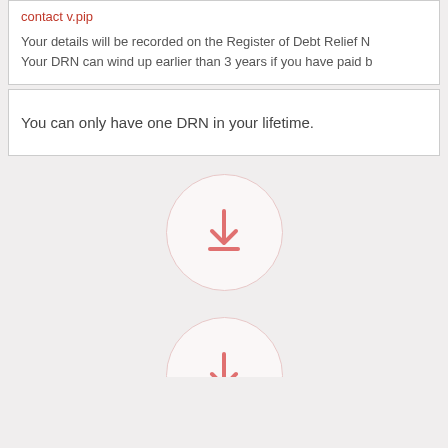contact v.pip
Your details will be recorded on the Register of Debt Relief No... Your DRN can wind up earlier than 3 years if you have paid b...
You can only have one DRN in your lifetime.
[Figure (illustration): A faint circular download icon with a downward arrow and a horizontal bar beneath it, rendered in light red/pink tones on a light background.]
[Figure (illustration): A partially visible faint circular icon at the bottom of the page, same style as the download icon above.]